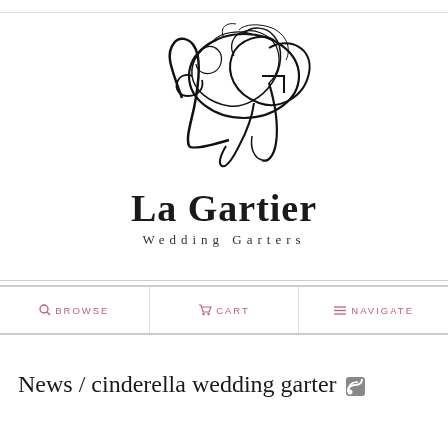[Figure (logo): La Gartier Wedding Garters logo with cursive LG monogram above the brand name]
BROWSE   CART   NAVIGATE
News / cinderella wedding garter